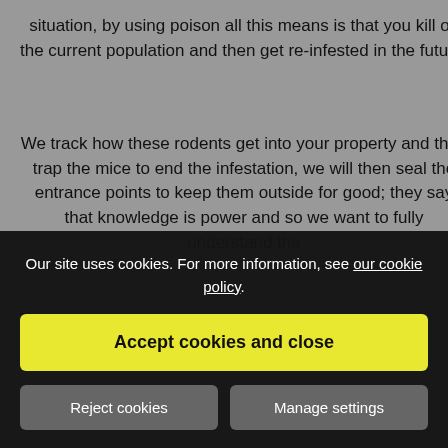situation, by using poison all this means is that you kill off the current population and then get re-infested in the future.
We track how these rodents get into your property and then trap the mice to end the infestation, we will then seal the entrance points to keep them outside for good; they say that knowledge is power and so we want to fully understand the
This is the only way to finally get rid of mi... o.
Our site uses cookies. For more information, see our cookie policy.
Accept cookies and close
Reject cookies
Manage settings